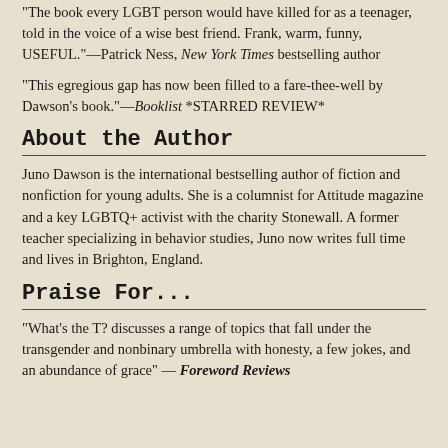"The book every LGBT person would have killed for as a teenager, told in the voice of a wise best friend. Frank, warm, funny, USEFUL."—Patrick Ness, New York Times bestselling author
"This egregious gap has now been filled to a fare-thee-well by Dawson's book."—Booklist *STARRED REVIEW*
About the Author
Juno Dawson is the international bestselling author of fiction and nonfiction for young adults. She is a columnist for Attitude magazine and a key LGBTQ+ activist with the charity Stonewall. A former teacher specializing in behavior studies, Juno now writes full time and lives in Brighton, England.
Praise For...
"What's the T? discusses a range of topics that fall under the transgender and nonbinary umbrella with honesty, a few jokes, and an abundance of grace" — Foreword Reviews